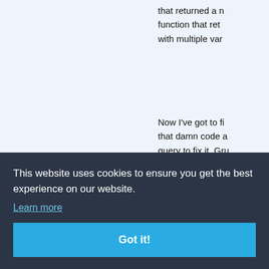that returned a n function that ret with multiple var
Now I've got to fi that damn code a query to fix it. Gru
[Figure (photo): Black and white photo of a baby or young child sitting]
Ghostpa
3:03 pm
ondolenc
s and cin
g timber.
This website uses cookies to ensure you get the best experience on our website.
Learn more
Got it!
[Figure (illustration): Top hat icon representing Scruffy Nerfberder avatar]
Scruffy Nerfberder on October 2, 2021